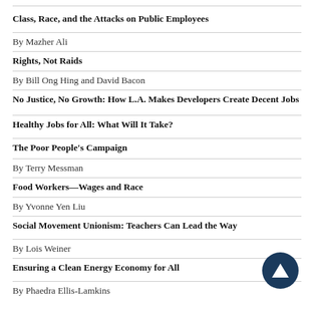Class, Race, and the Attacks on Public Employees
By Mazher Ali
Rights, Not Raids
By Bill Ong Hing and David Bacon
No Justice, No Growth: How L.A. Makes Developers Create Decent Jobs
Healthy Jobs for All: What Will It Take?
The Poor People's Campaign
By Terry Messman
Food Workers—Wages and Race
By Yvonne Yen Liu
Social Movement Unionism: Teachers Can Lead the Way
By Lois Weiner
Ensuring a Clean Energy Economy for All
By Phaedra Ellis-Lamkins